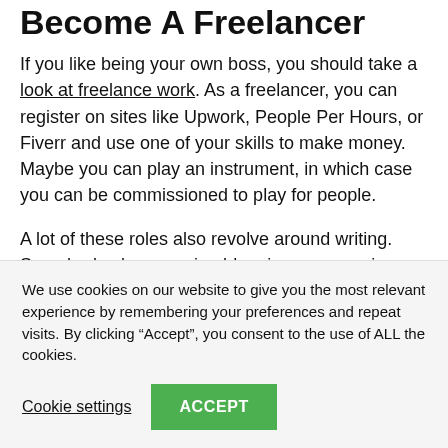Become A Freelancer
If you like being your own boss, you should take a look at freelance work. As a freelancer, you can register on sites like Upwork, People Per Hours, or Fiverr and use one of your skills to make money. Maybe you can play an instrument, in which case you can be commissioned to play for people.
A lot of these roles also revolve around writing. Somebody else pursuing blogging or magazine editing might want to offer…
We use cookies on our website to give you the most relevant experience by remembering your preferences and repeat visits. By clicking “Accept”, you consent to the use of ALL the cookies.
Cookie settings   ACCEPT